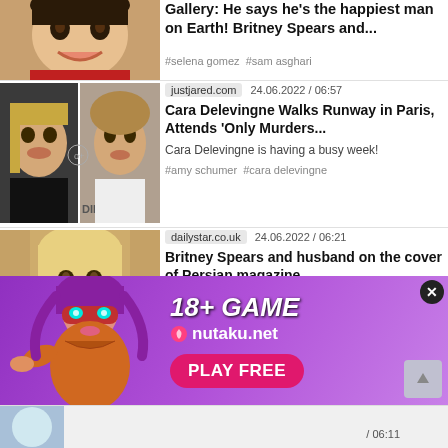[Figure (photo): Partial news item thumbnail showing a woman smiling in a red outfit]
Gallery: He says he's the happiest man on Earth! Britney Spears and...
#selena gomez #sam asghari
[Figure (photo): Two-panel thumbnail of Cara Delevingne, one with dark jacket, one with white shirt]
justjared.com   24.06.2022 / 06:57
Cara Delevingne Walks Runway in Paris, Attends 'Only Murders...
Cara Delevingne is having a busy week!
#amy schumer #cara delevingne
[Figure (photo): Thumbnail of a blonde woman (Britney Spears) smiling]
dailystar.co.uk   24.06.2022 / 06:21
Britney Spears and husband on the cover of Persian magazine...
[Figure (illustration): 18+ game advertisement banner for nutaku.net featuring an animated female character with purple hair and glowing eyes. Text: 18+ GAME, nutaku.net, PLAY FREE]